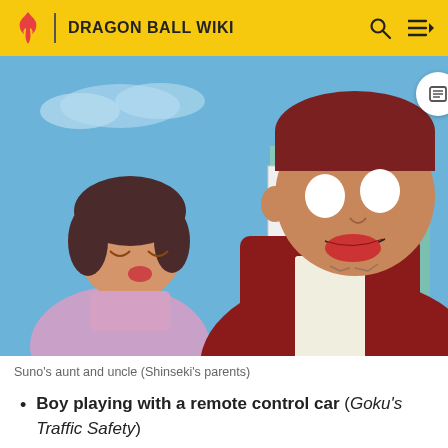DRAGON BALL WIKI
[Figure (illustration): Anime screenshot showing Suno's aunt and uncle (Shinseki's parents). A woman in a lavender outfit bowing her head with hands clasped, and a large man in a red jacket with white shirt, wide eyes and open mouth, standing in front of Japanese signage with a blue sky background.]
Suno's aunt and uncle (Shinseki's parents)
Boy playing with a remote control car (Goku's Traffic Safety)